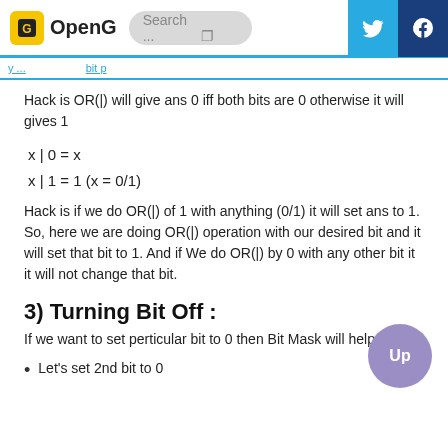OpenG | Search ...
Hack is OR(|) will give ans 0 iff both bits are 0 otherwise it will gives 1
Hack is if we do OR(|) of 1 with anything (0/1) it will set ans to 1. So, here we are doing OR(|) operation with our desired bit and it will set that bit to 1. And if We do OR(|) by 0 with any other bit it it will not change that bit.
3) Turning Bit Off :
If we want to set perticular bit to 0 then Bit Mask will help us.
Let's set 2nd bit to 0